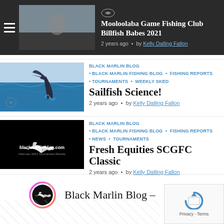[Figure (photo): Dark banner header with hamburger menu icon, thumbnail image of fishing scene, and text for Mooloolaba Game Fishing Club Billfish Babes 2021 post with author Kelly Dalling Fallon]
Mooloolaba Game Fishing Club Billfish Babes 2021
2 years ago • by Kelly Dalling Fallon
[Figure (photo): Sailfish jumping out of blue ocean water]
BLACK MARLIN BLOG • BLACK MARLIN FISHING BLOG • FISHING REPORTS • TOURNAMENTS • WEEKLY SKED
Sailfish Science!
2 years ago • by Kelly Dalling Fallon
[Figure (logo): Black background with blackmarlinblog.com logo in white with marlin graphic]
BLACK MARLIN BLOG • BLACK MARLIN FISHING BLOG • FISHING REPORTS • NEWS • TOURNAMENTS
Fresh Equities SCGFC Classic
2 years ago • by Kelly Dalling Fallon
[Figure (logo): Black Marlin Blog circular logo with marlin icon in pink/red gradient circle]
Black Marlin Blog –
[Figure (screenshot): Google reCAPTCHA widget with Privacy and Terms links]